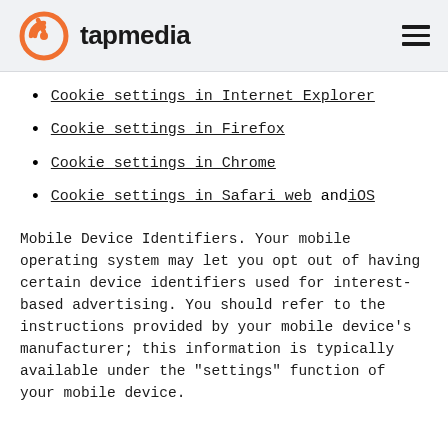tapmedia
Cookie settings in Internet Explorer
Cookie settings in Firefox
Cookie settings in Chrome
Cookie settings in Safari web and iOS
Mobile Device Identifiers. Your mobile operating system may let you opt out of having certain device identifiers used for interest-based advertising. You should refer to the instructions provided by your mobile device's manufacturer; this information is typically available under the "settings" function of your mobile device.